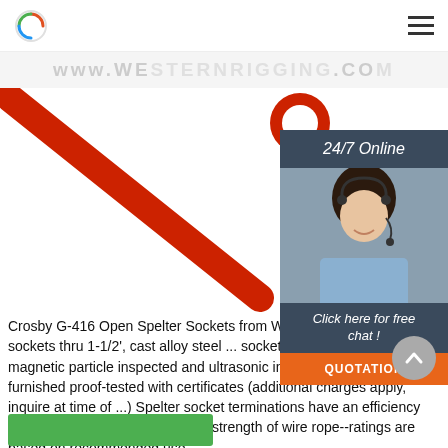www.westernrigging.com
[Figure (photo): Red steel rod/spelter socket component photographed diagonally on white background]
[Figure (screenshot): 24/7 Online chat widget with woman wearing headset and 'Click here for free chat!' and 'QUOTATION' button]
Crosby G-416 Open Spelter Sockets from Wested... Forged steel sockets thru 1-1/2', cast alloy steel ... sockets 1-5/8' and larger are magnetic particle inspected and ultrasonic inspected Can be furnished proof-tested with certificates (additional charges apply, inquire at time of ...) Spelter socket terminations have an efficiency rating of ... based on the catalog strength of wire rope--ratings are based on recommended use ...